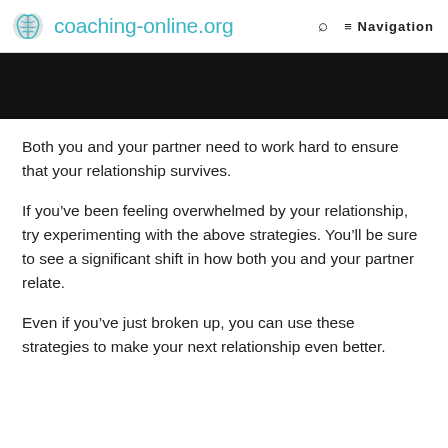coaching-online.org  Q  Navigation
[Figure (other): Black banner image at top of article content]
Both you and your partner need to work hard to ensure that your relationship survives.
If you’ve been feeling overwhelmed by your relationship, try experimenting with the above strategies. You’ll be sure to see a significant shift in how both you and your partner relate.
Even if you’ve just broken up, you can use these strategies to make your next relationship even better.